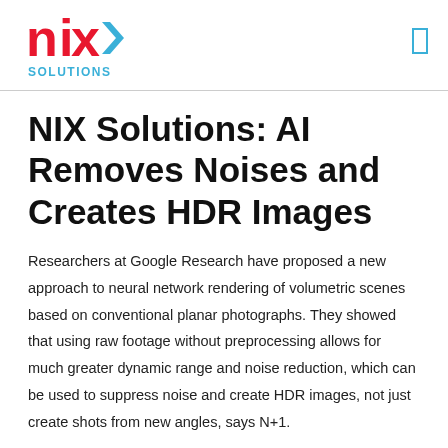NIX Solutions
NIX Solutions: AI Removes Noises and Creates HDR Images
Researchers at Google Research have proposed a new approach to neural network rendering of volumetric scenes based on conventional planar photographs. They showed that using raw footage without preprocessing allows for much greater dynamic range and noise reduction, which can be used to suppress noise and create HDR images, not just create shots from new angles, says N+1.